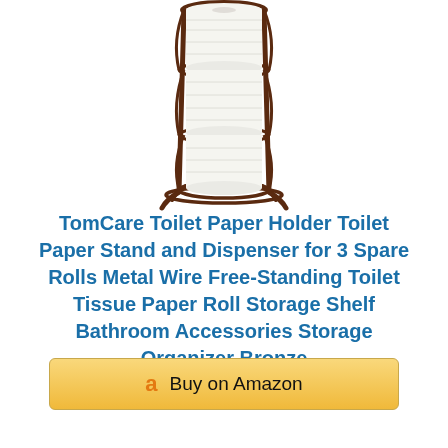[Figure (illustration): A bronze/dark brown metal wire free-standing toilet paper holder with three spare rolls stacked vertically in the cylindrical frame, with curved legs at the base.]
TomCare Toilet Paper Holder Toilet Paper Stand and Dispenser for 3 Spare Rolls Metal Wire Free-Standing Toilet Tissue Paper Roll Storage Shelf Bathroom Accessories Storage Organizer Bronze
Buy on Amazon